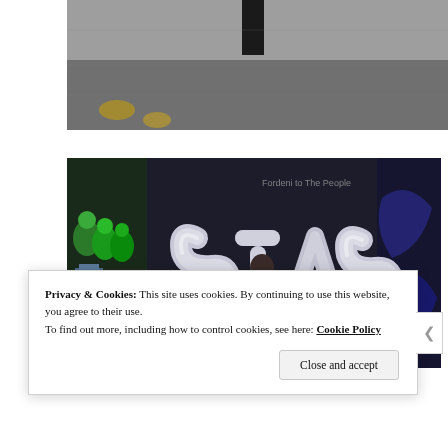[Figure (photo): Top partial photo showing dark background, appears to be top of a photo cut off at page top]
[Figure (photo): Photo of a person standing in front of a dark graffiti wall with large silver balloon-style letters spelling 'SIAS' or similar, with colorful graffiti murals on the left side including green and blue figures]
Privacy & Cookies: This site uses cookies. By continuing to use this website, you agree to their use.
To find out more, including how to control cookies, see here: Cookie Policy
Close and accept